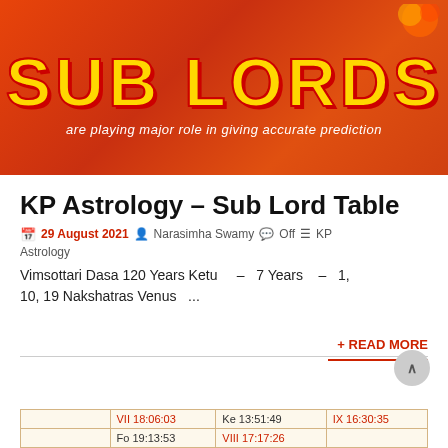[Figure (illustration): Red/orange gradient banner with large yellow outlined text 'SUB LORDS' and italic subtitle 'are playing major role in giving accurate prediction', with decorative element top right]
KP Astrology – Sub Lord Table
29 August 2021  Narasimha Swamy  Off  KP Astrology
Vimsottari Dasa 120 Years Ketu – 7 Years – 1, 10, 19 Nakshatras Venus ...
+ READ MORE
|  | VII 18:06:03 | Ke 13:51:49 | IX 16:30:35 |
|  | Fo 19:13:53 | VIII 17:17:26 |  |